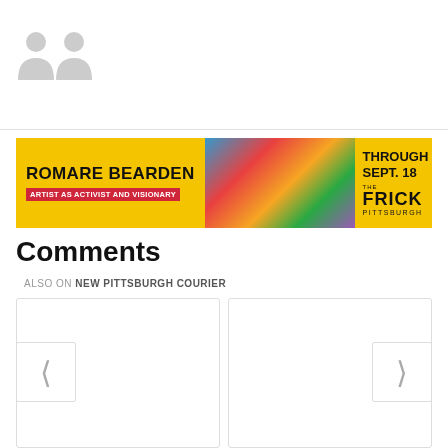[Figure (illustration): Two gray user avatar silhouette icons on white background]
[Figure (illustration): Advertisement banner for Romare Bearden: Artist as Activist and Visionary at Frick Pittsburgh, through Sept. 18, with colorful art image in center, yellow background]
Comments
ALSO ON NEW PITTSBURGH COURIER
[Figure (screenshot): Two article card placeholders side by side with left and right navigation arrows, part of a comments/related articles widget]